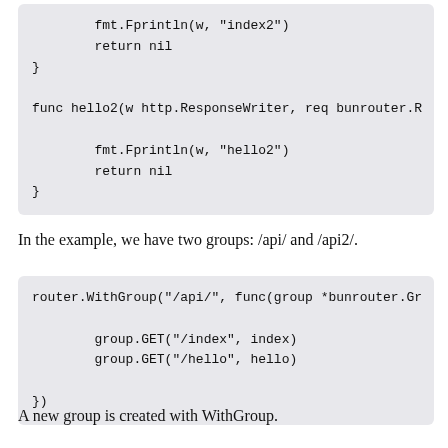fmt.Fprintln(w, "index2")
        return nil
}

func hello2(w http.ResponseWriter, req bunrouter.R

        fmt.Fprintln(w, "hello2")
        return nil
}
In the example, we have two groups: /api/ and /api2/.
router.WithGroup("/api/", func(group *bunrouter.Gr

        group.GET("/index", index)
        group.GET("/hello", hello)

})
A new group is created with WithGroup.